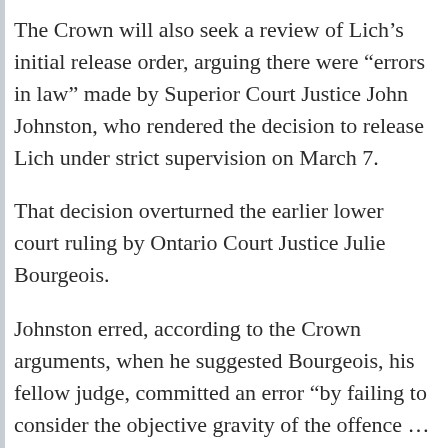The Crown will also seek a review of Lich's initial release order, arguing there were “errors in law” made by Superior Court Justice John Johnston, who rendered the decision to release Lich under strict supervision on March 7.
That decision overturned the earlier lower court ruling by Ontario Court Justice Julie Bourgeois.
Johnston erred, according to the Crown arguments, when he suggested Bourgeois, his fellow judge, committed an error “by failing to consider the objective gravity of the offence … and focused on the impact.”
Advertisement F